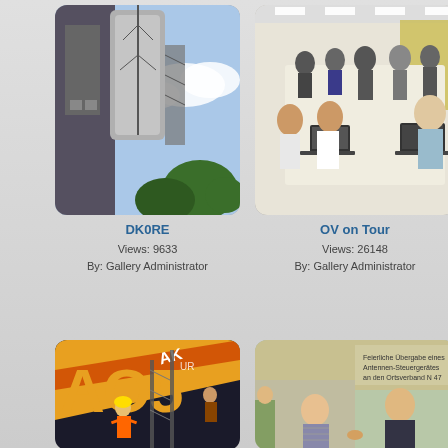[Figure (photo): Photo of DK0RE antenna tower viewed from below against a blue sky with clouds and trees]
DK0RE
Views: 9633
By: Gallery Administrator
[Figure (photo): Photo of OV on Tour - people sitting around a long conference table with laptops in a meeting room]
OV on Tour
Views: 26148
By: Gallery Administrator
[Figure (photo): Photo showing AO5 magazine cover with construction/industrial imagery and large AO5 text]
[Figure (photo): Photo of a ceremonial handover of an antenna control unit to the local club N 47, showing two men in front of a van]